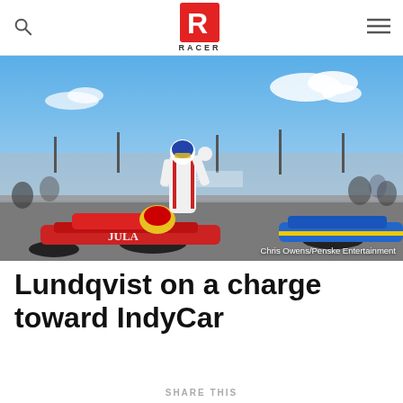RACER
[Figure (photo): Racing driver in white/red race suit standing on or beside a red IndyCar, fist raised in celebration, with a blue open-wheel car visible to the right and a crowd in the background. Photo credit: Chris Owens/Penske Entertainment]
Chris Owens/Penske Entertainment
Lundqvist on a charge toward IndyCar
SHARE THIS